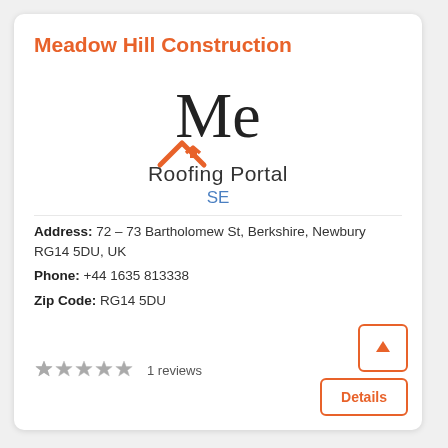Meadow Hill Construction
[Figure (logo): Me Roofing Portal SE logo — large 'Me' text with an orange roof/house icon above 'Roofing Portal' text, and 'SE' in blue below]
Address: 72 – 73 Bartholomew St, Berkshire, Newbury RG14 5DU, UK
Phone: +44 1635 813338
Zip Code: RG14 5DU
1 reviews